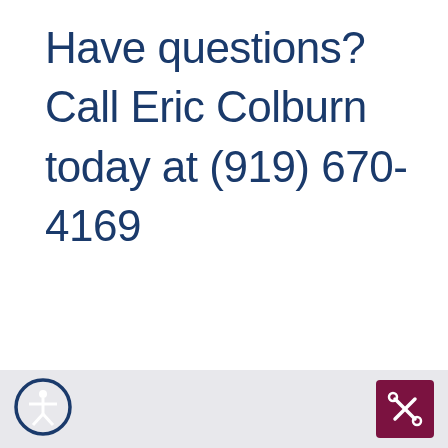Have questions? Call Eric Colburn today at (919) 670-4169
[Figure (logo): Accessibility icon - circular blue border with white human figure inside]
[Figure (logo): Dark red/maroon square icon with white scissors or location pin symbol]